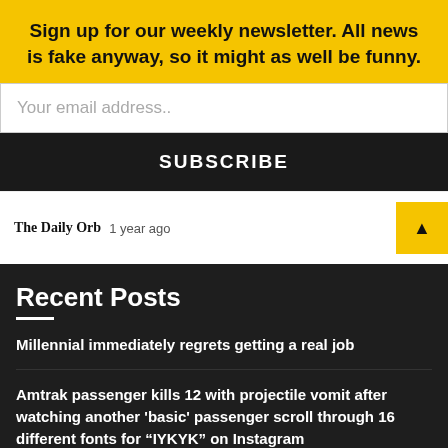Sign up for our weekly newsletter. All news is fake anyway, so it might as well be funny.
Your email address..
SUBSCRIBE
The Daily Orb   1 year ago
Recent Posts
Millennial immediately regrets getting a real job
Amtrak passenger kills 12 with projectile vomit after watching another 'basic' passenger scroll through 16 different fonts for “IYKYK” on Instagram
‘Trump’s America is a thing of the past’ says Democrat with head buried in sand
Progressives lament Joe Biden  for being Joe Biden